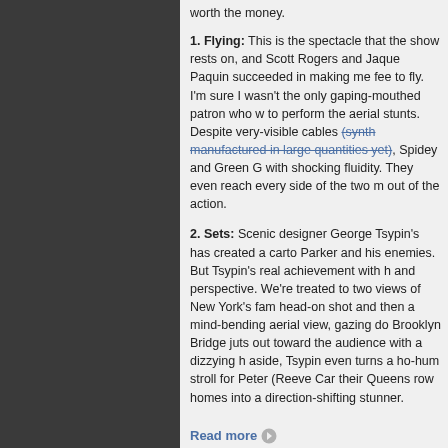worth the money.
1. Flying: This is the spectacle that the show rests on, and Scott Rogers and Jaque Paquin succeeded in making me feel to fly. I'm sure I wasn't the only gaping-mouthed patron who w to perform the aerial stunts. Despite very-visible cables (synth manufactured in large quantities yet), Spidey and Green G with shocking fluidity. They even reach every side of the two m out of the action.
2. Sets: Scenic designer George Tsypin's has created a carto Parker and his enemies. But Tsypin's real achievement with h and perspective. We're treated to two views of New York's fam head-on shot and then a mind-bending aerial view, gazing do Brooklyn Bridge juts out toward the audience with a dizzying h aside, Tsypin even turns a ho-hum stroll for Peter (Reeve Car their Queens row homes into a direction-shifting stunner.
Read more